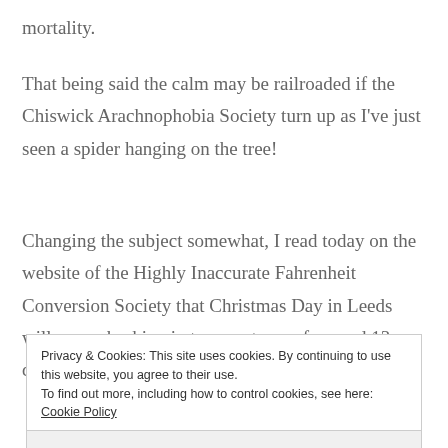mortality.
That being said the calm may be railroaded if the Chiswick Arachnophobia Society turn up as I've just seen a spider hanging on the tree!
Changing the subject somewhat, I read today on the website of the Highly Inaccurate Fahrenheit Conversion Society that Christmas Day in Leeds will see us basking in temperatures of around 13 degrees Celsius (4000 degrees Fahrenheit).
Privacy & Cookies: This site uses cookies. By continuing to use this website, you agree to their use.
To find out more, including how to control cookies, see here: Cookie Policy
Close and accept